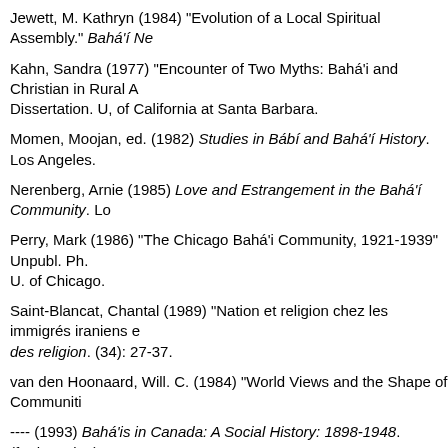Jewett, M. Kathryn (1984) "Evolution of a Local Spiritual Assembly." Bahá'í Ne
Kahn, Sandra (1977) "Encounter of Two Myths: Bahá'i and Christian in Rural A... Dissertation. U, of California at Santa Barbara.
Momen, Moojan, ed. (1982) Studies in Bábí and Bahá'í History. Los Angeles.
Nerenberg, Arnie (1985) Love and Estrangement in the Bahá'í Community. Lo
Perry, Mark (1986) "The Chicago Bahá'i Community, 1921-1939" Unpubl. Ph. U. of Chicago.
Saint-Blancat, Chantal (1989) "Nation et religion chez les immigrés iraniens e des religion. (34): 27-37.
van den Hoonaard, Will. C. (1984) "World Views and the Shape of Communiti
---- (1993) Bahá'is in Canada: A Social History: 1898-1948. (forthcoming).
Warburg, Margit (1993) "Economic Rituals: The Structure and Meaning of Don... (1): 25-31.